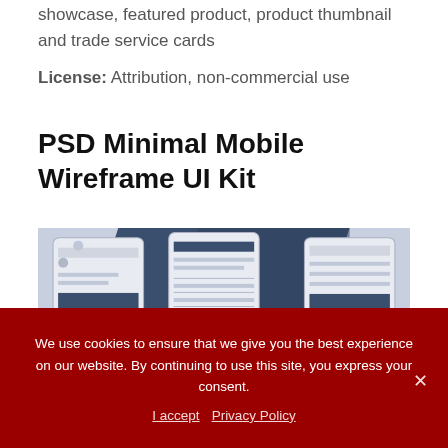showcase, featured product, product thumbnail and trade service cards
License: Attribution, non-commercial use
PSD Minimal Mobile Wireframe UI Kit
[Figure (screenshot): Screenshot of PSD Minimal Mobile Wireframe UI Kit showing mobile wireframe screens on a dark blue diagonal background]
We use cookies to ensure that we give you the best experience on our website. By continuing to use this site, you express your consent.
I accept   Privacy Policy